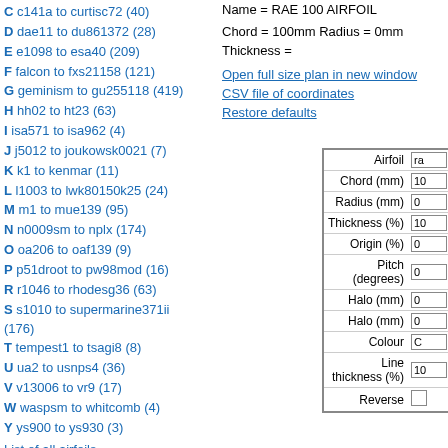C c141a to curtisc72 (40)
D dae11 to du861372 (28)
E e1098 to esa40 (209)
F falcon to fxs21158 (121)
G geminism to gu255118 (419)
H hh02 to ht23 (63)
I isa571 to isa962 (4)
J j5012 to joukowsk0021 (7)
K k1 to kenmar (11)
L l1003 to lwk80150k25 (24)
M m1 to mue139 (95)
N n0009sm to nplx (174)
O oa206 to oaf139 (9)
P p51droot to pw98mod (16)
R r1046 to rhodesg36 (63)
S s1010 to supermarine371ii (176)
T tempest1 to tsagi8 (8)
U ua2 to usnps4 (36)
V v13006 to vr9 (17)
W waspsm to whitcomb (4)
Y ys900 to ys930 (3)
List of all airfoils
Site
Home
Contact
Privacy Policy
Name = RAE 100 AIRFOIL
Chord = 100mm Radius = 0mm Thickness =
Open full size plan in new window
CSV file of coordinates
Restore defaults
| Label | Input |
| --- | --- |
| Airfoil | ra |
| Chord (mm) | 10 |
| Radius (mm) | 0 |
| Thickness (%) | 10 |
| Origin (%) | 0 |
| Pitch (degrees) | 0 |
| Halo (mm) | 0 |
| Halo (mm) | 0 |
| Colour | C |
| Line thickness (%) | 10 |
| Reverse |  |